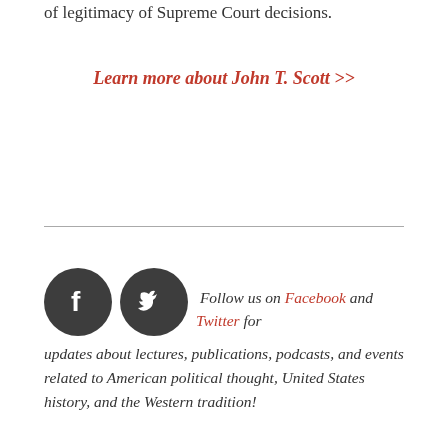of legitimacy of Supreme Court decisions.
Learn more about John T. Scott >>
Follow us on Facebook and Twitter for updates about lectures, publications, podcasts, and events related to American political thought, United States history, and the Western tradition!